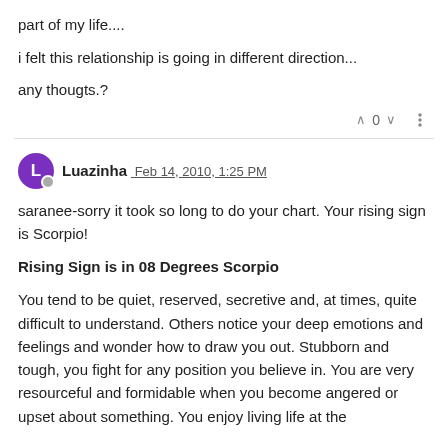part of my life....
i felt this relationship is going in different direction...
any thougts.?
Luazinha  Feb 14, 2010, 1:25 PM
saranee-sorry it took so long to do your chart. Your rising sign is Scorpio!
Rising Sign is in 08 Degrees Scorpio
You tend to be quiet, reserved, secretive and, at times, quite difficult to understand. Others notice your deep emotions and feelings and wonder how to draw you out. Stubborn and tough, you fight for any position you believe in. You are very resourceful and formidable when you become angered or upset about something. You enjoy living life at the